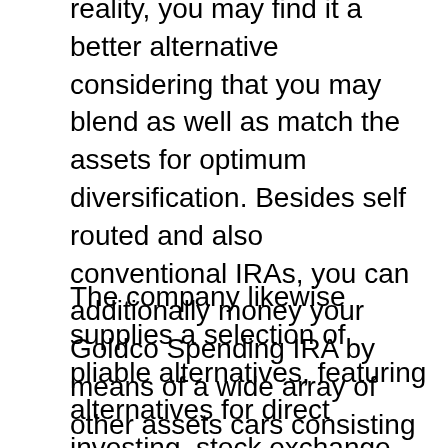reality, you may find it a better alternative considering that you may blend as well as match the assets for optimum diversification. Besides self routed and also conventional IRAs, you can additionally money your Goldco Spending IRA by means of a wide array of other assets cars consisting of precious metal funds, money market accounts, enthusiasm gilt funds, as well as cd funds.
The company likewise supplies a selection of pliable alternatives, featuring alternatives for direct investing, stock exchange trading, gold and silvers for stock funds, gold funds, as well as item financial investments. With straight investing, you may deal allotments of a provider straight, which is actually an